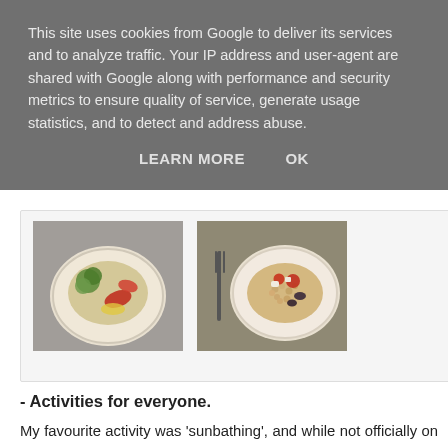This site uses cookies from Google to deliver its services and to analyze traffic. Your IP address and user-agent are shared with Google along with performance and security metrics to ensure quality of service, generate usage statistics, and to detect and address abuse.
LEARN MORE   OK
[Figure (photo): Two photos of plated food dishes side by side]
- Activities for everyone.
My favourite activity was 'sunbathing', and while not officially on the activities list for the resort, it's definitely up there as one of the best in my opinion. Since I was child-free, I took full advantage of enjoying peace and quiet by the over 18s pool (nice touch, Mark Warner, and handily located right outside my suite). During the day the over 18s pool is the venue for rather vigorous games of water polo in the